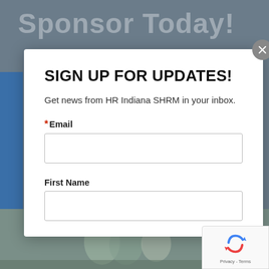Sponsor Today!
SIGN UP FOR UPDATES!
Get news from HR Indiana SHRM in your inbox.
* Email
First Name
[Figure (logo): reCAPTCHA badge with Google logo, Privacy and Terms links]